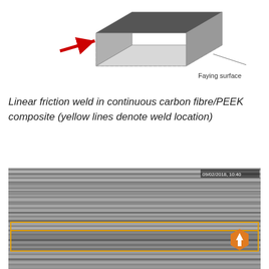[Figure (schematic): 3D schematic diagram of a block/specimen with a red arrow pointing into it from the left, dashed lines indicating edges, and a label 'Faying surface' pointing to the bottom face of the block.]
Linear friction weld in continuous carbon fibre/PEEK composite (yellow lines denote weld location)
[Figure (photo): Grayscale microscopy or ultrasound C-scan image of a linear friction weld cross-section in continuous carbon fibre/PEEK composite. The image is dated 09/02/2018, 10:40. Two horizontal yellow rectangle outlines mark the weld location region. An orange hexagon with a white upward arrow appears in the lower-right area of the highlighted weld zone.]